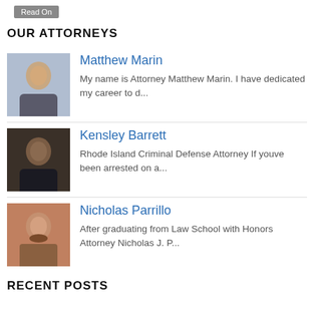Read On
OUR ATTORNEYS
[Figure (photo): Headshot of attorney Matthew Marin in a suit]
Matthew Marin
My name is Attorney Matthew Marin. I have dedicated my career to d...
[Figure (photo): Headshot of attorney Kensley Barrett in a dark suit]
Kensley Barrett
Rhode Island Criminal Defense Attorney If youve been arrested on a...
[Figure (photo): Headshot of attorney Nicholas Parrillo with beard]
Nicholas Parrillo
After graduating from Law School with Honors Attorney Nicholas J. P...
RECENT POSTS